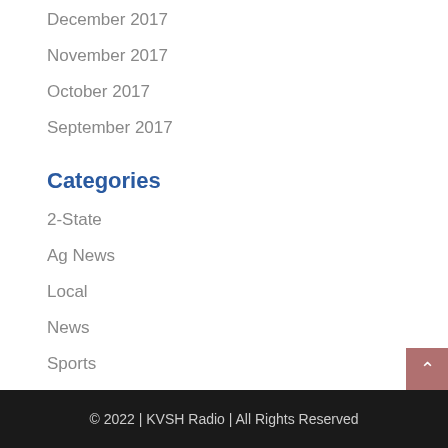December 2017
November 2017
October 2017
September 2017
Categories
2-State
Ag News
Local
News
Sports
© 2022 | KVSH Radio | All Rights Reserved